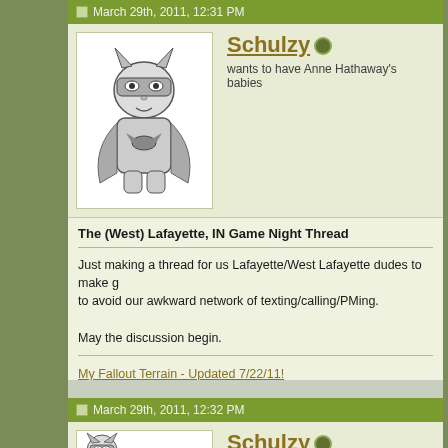March 29th, 2011, 12:31 PM
[Figure (illustration): Avatar of a cartoon baby Batman character, hand-drawn style, wearing a cape and mask]
Schulzy
wants to have Anne Hathaway's babies
The (West) Lafayette, IN Game Night Thread
Just making a thread for us Lafayette/West Lafayette dudes to make game plans to avoid our awkward network of texting/calling/PMing.

May the discussion begin.
My Fallout Terrain - Updated 7/22/11!
Portalscape by Schulzy
Link
March 29th, 2011, 12:32 PM
[Figure (illustration): Avatar of a cartoon baby Batman character, hand-drawn style, wearing a cape and mask]
Schulzy
wants to have Anne Hathaway's babies